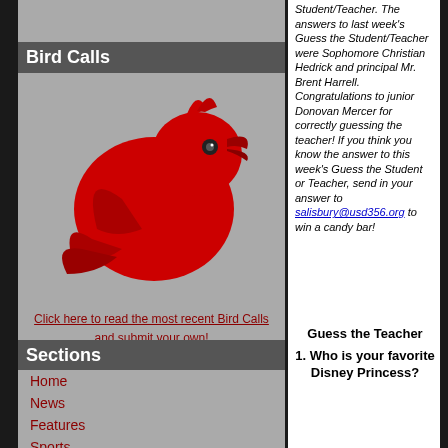[Figure (photo): Top banner strip image, partially visible, gray background]
Bird Calls
[Figure (illustration): Red cardinal/Twitter bird logo illustration on gray background]
Click here to read the most recent Bird Calls and submit your own!
Sections
Home
News
Features
Sports
Opinion
About us
Student/Teacher. The answers to last week's Guess the Student/Teacher were Sophomore Christian Hedrick and principal Mr. Brent Harrell. Congratulations to junior Donovan Mercer for correctly guessing the teacher! If you think you know the answer to this week's Guess the Student or Teacher, send in your answer to salisbury@usd356.org to win a candy bar!
Guess the Teacher
1. Who is your favorite Disney Princess?